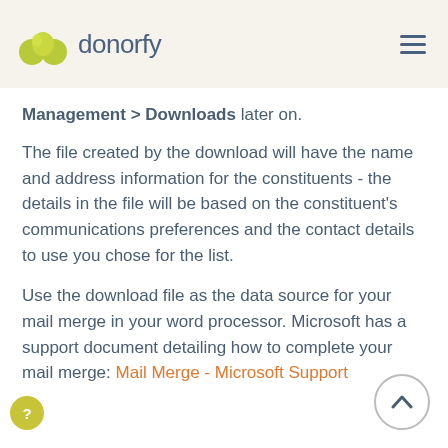donorfy
Management > Downloads later on.
The file created by the download will have the name and address information for the constituents - the details in the file will be based on the constituent's communications preferences and the contact details to use you chose for the list.
Use the download file as the data source for your mail merge in your word processor. Microsoft has a support document detailing how to complete your mail merge: Mail Merge - Microsoft Support